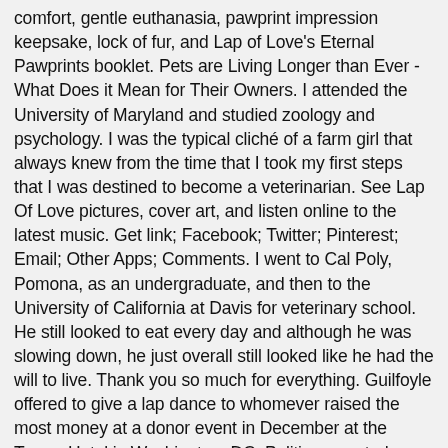comfort, gentle euthanasia, pawprint impression keepsake, lock of fur, and Lap of Love's Eternal Pawprints booklet. Pets are Living Longer than Ever - What Does it Mean for Their Owners. I attended the University of Maryland and studied zoology and psychology. I was the typical cliché of a farm girl that always knew from the time that I took my first steps that I was destined to become a veterinarian. See Lap Of Love pictures, cover art, and listen online to the latest music. Get link; Facebook; Twitter; Pinterest; Email; Other Apps; Comments. I went to Cal Poly, Pomona, as an undergraduate, and then to the University of California at Davis for veterinary school. He still looked to eat every day and although he was slowing down, he just overall still looked like he had the will to live. Thank you so much for everything. Guilfoyle offered to give a lap dance to whomever raised the most money at a donor event in December at the Trump Hotel in Washington, DC, Politico reported, citing two people who were at the event. Pets are respectfully cremated with other pets at a licensed crematory and ashes are buried at a certified pet cemetery. As a teenager, I bottle-raised a sick puppy who had